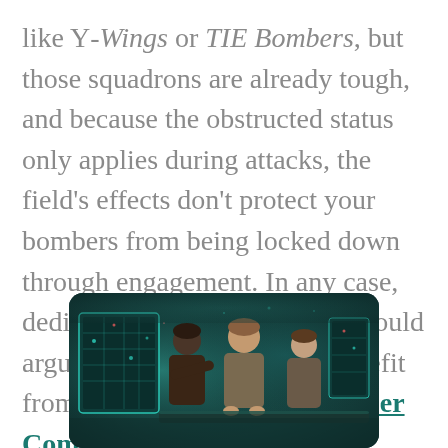like Y-Wings or TIE Bombers, but those squadrons are already tough, and because the obstructed status only applies during attacks, the field's effects don't protect your bombers from being locked down through engagement. In any case, dedicated Bomber squadrons would arguably gain an increased benefit from the more expensive Bomber Command Centre, which massively enhances their primary role.
[Figure (photo): A dark, teal-tinted scene showing two or three people gathered around glowing screens or a table in what appears to be a command centre or tactical room.]